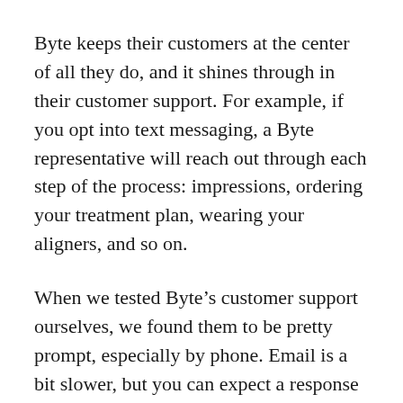Byte keeps their customers at the center of all they do, and it shines through in their customer support. For example, if you opt into text messaging, a Byte representative will reach out through each step of the process: impressions, ordering your treatment plan, wearing your aligners, and so on.
When we tested Byte’s customer support ourselves, we found them to be pretty prompt, especially by phone. Email is a bit slower, but you can expect a response within 24 hours. You can also reach out to them on social media, but for specific questions, a phone call is a fastest and most secure method.